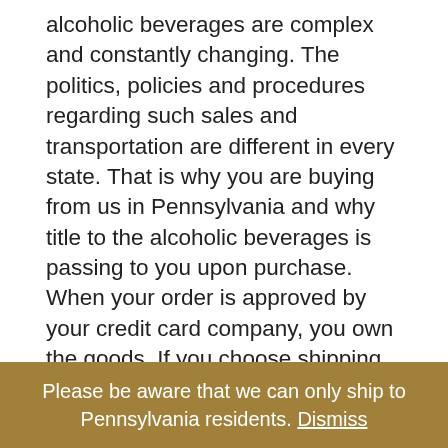alcoholic beverages are complex and constantly changing. The politics, policies and procedures regarding such sales and transportation are different in every state. That is why you are buying from us in Pennsylvania and why title to the alcoholic beverages is passing to you upon purchase. When your order is approved by your credit card company, you own the goods. If you choose shipping as a delivery method, you are asking us to engage a common carrier to deliver your order to you.
By arranging for transportation of the alcoholic beverages, eriedistilledspirits.com is providing a service to, and acting on behalf of you. By
Please be aware that we can only ship to Pennsylvania residents. Dismiss